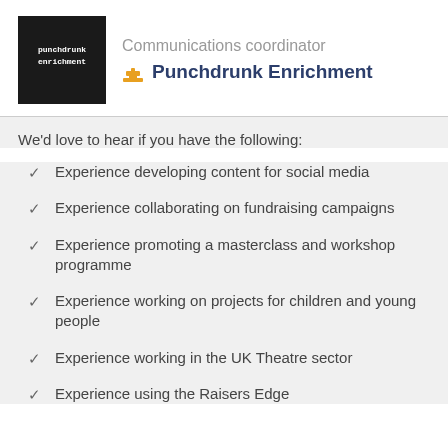[Figure (logo): Punchdrunk Enrichment logo - black square with white stylized text]
Communications coordinator
Punchdrunk Enrichment
We'd love to hear if you have the following:
Experience developing content for social media
Experience collaborating on fundraising campaigns
Experience promoting a masterclass and workshop programme
Experience working on projects for children and young people
Experience working in the UK Theatre sector
Experience using the Raisers Edge